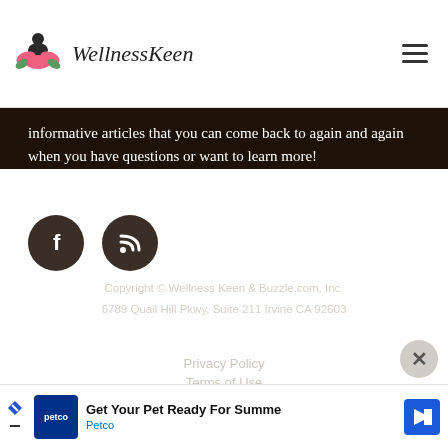WellnessKeen
informative articles that you can come back to again and again when you have questions or want to learn more!
[Figure (other): Facebook and RSS social media icon buttons (dark circular buttons on dark background)]
Copyright © Wellness Keen & Buzzle.com, Inc.
6789 Quail Hill Pkwy, Suite 211 Irvine CA 92603
Privacy Policy
Terms of Use
Contact Us
[Figure (other): Advertisement banner: Petco — Get Your Pet Ready For Summer]